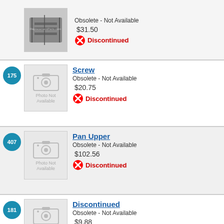[Figure (other): Product listing row: part image with watermark, price $31.50, Discontinued]
Obsolete - Not Available
$31.50
Discontinued
[Figure (other): Item 175: Screw - Photo Not Available placeholder]
Screw
Obsolete - Not Available
$20.75
Discontinued
[Figure (other): Item 407: Pan Upper - Photo Not Available placeholder]
Pan Upper
Obsolete - Not Available
$102.56
Discontinued
[Figure (other): Item 181: Discontinued - Photo Not Available placeholder]
Discontinued
Obsolete - Not Available
$9.88